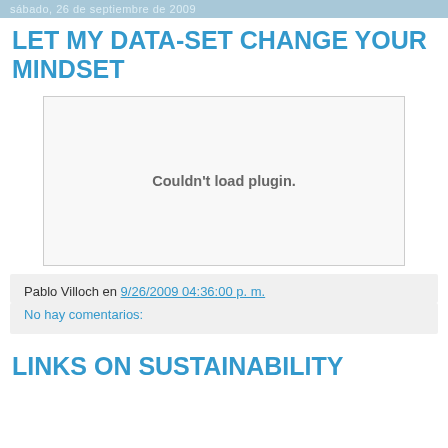sábado, 26 de septiembre de 2009
LET MY DATA-SET CHANGE YOUR MINDSET
[Figure (other): Embedded plugin area showing 'Couldn't load plugin.' error message]
Pablo Villoch en 9/26/2009 04:36:00 p. m.
No hay comentarios:
LINKS ON SUSTAINABILITY